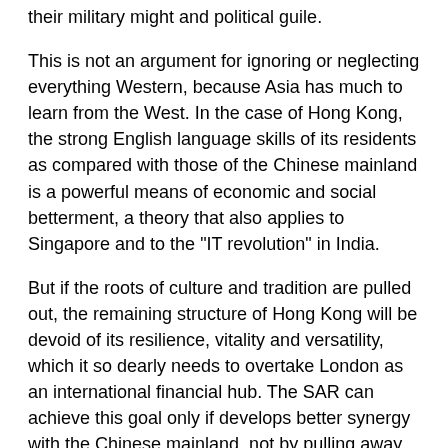their military might and political guile.
This is not an argument for ignoring or neglecting everything Western, because Asia has much to learn from the West. In the case of Hong Kong, the strong English language skills of its residents as compared with those of the Chinese mainland is a powerful means of economic and social betterment, a theory that also applies to Singapore and to the "IT revolution" in India.
But if the roots of culture and tradition are pulled out, the remaining structure of Hong Kong will be devoid of its resilience, vitality and versatility, which it so dearly needs to overtake London as an international financial hub. The SAR can achieve this goal only if develops better synergy with the Chinese mainland, not by pulling away from it. In this sense, those who propagate a "one-size-fits-all" version of democracy are being dictatorial, not democratic.